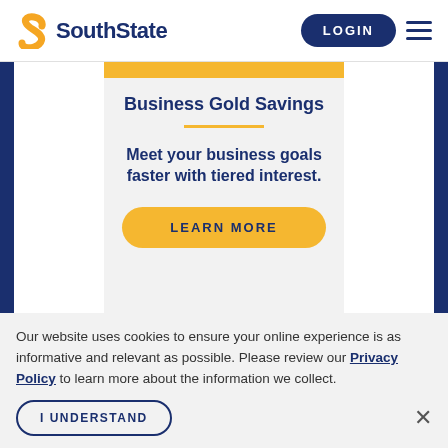SouthState — LOGIN
Business Gold Savings
Meet your business goals faster with tiered interest.
LEARN MORE
Our website uses cookies to ensure your online experience is as informative and relevant as possible. Please review our Privacy Policy to learn more about the information we collect.
I UNDERSTAND